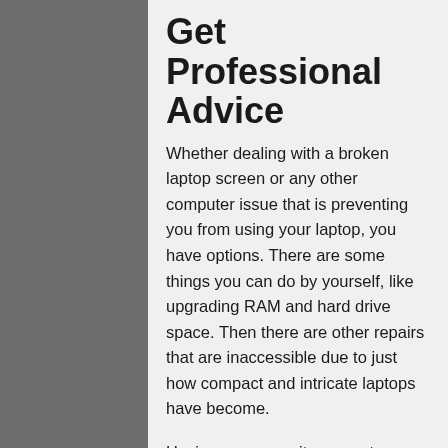Get Professional Advice
Whether dealing with a broken laptop screen or any other computer issue that is preventing you from using your laptop, you have options. There are some things you can do by yourself, like upgrading RAM and hard drive space. Then there are other repairs that are inaccessible due to just how compact and intricate laptops have become.
Having a community computer service provider you can trust will save you a lot of time and money on computers. If you have any questions about your computer, big or small, feel free to contact us. We'll be happy to help you answer any questions you might have about hardware, software, viruses, and speeding up your computer.